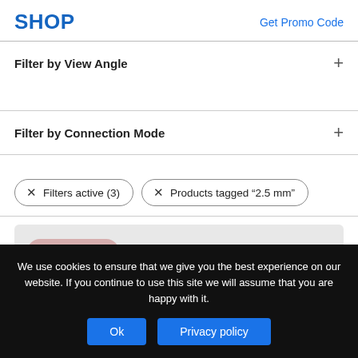SHOP | Get Promo Code
Filter by View Angle
Filter by Connection Mode
× Filters active (3)
× Products tagged "2.5 mm"
Out of stock
We use cookies to ensure that we give you the best experience on our website. If you continue to use this site we will assume that you are happy with it.
Ok
Privacy policy